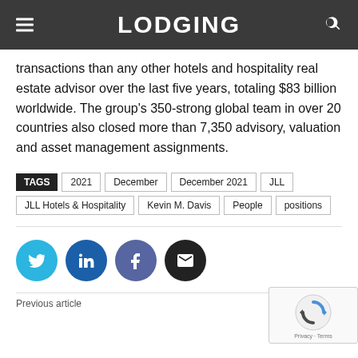LODGING
transactions than any other hotels and hospitality real estate advisor over the last five years, totaling $83 billion worldwide. The group's 350-strong global team in over 20 countries also closed more than 7,350 advisory, valuation and asset management assignments.
TAGS  2021  December  December 2021  JLL  JLL Hotels & Hospitality  Kevin M. Davis  People  positions
[Figure (infographic): Social media share buttons: Twitter (cyan), LinkedIn (dark blue), Facebook (purple-blue), Email (black)]
Previous article   Next article